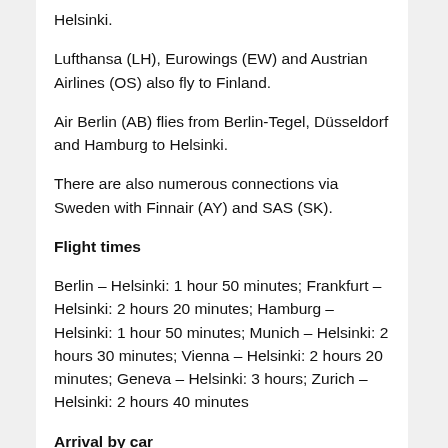Helsinki.
Lufthansa (LH), Eurowings (EW) and Austrian Airlines (OS) also fly to Finland.
Air Berlin (AB) flies from Berlin-Tegel, Düsseldorf and Hamburg to Helsinki.
There are also numerous connections via Sweden with Finnair (AY) and SAS (SK).
Flight times
Berlin – Helsinki: 1 hour 50 minutes; Frankfurt – Helsinki: 2 hours 20 minutes; Hamburg – Helsinki: 1 hour 50 minutes; Munich – Helsinki: 2 hours 30 minutes; Vienna – Helsinki: 2 hours 20 minutes; Geneva – Helsinki: 3 hours; Zurich – Helsinki: 2 hours 40 minutes
Arrival by car
Arrival by car with the car from Germany...